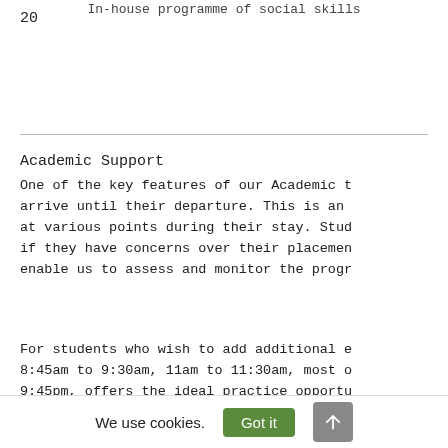In-house programme of social skills
20
Academic Support
One of the key features of our Academic t arrive until their departure. This is an at various points during their stay. Stud if they have concerns over their placemen enable us to assess and monitor the progr
For students who wish to add additional e 8:45am to 9:30am, 11am to 11:30am, most o 9:45pm, offers the ideal practice opportu